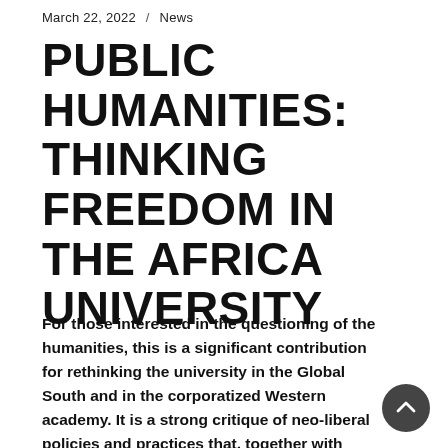March 22, 2022 / News
PUBLIC HUMANITIES: THINKING FREEDOM IN THE AFRICA UNIVERSITY
For those interested in the questioning of the humanities, this is a significant contribution for rethinking the university in the Global South and in the corporatized Western academy. It is a strong critique of neo-liberal policies and practices that, together with colonial legacies and authoritarian rule, plague African higher education. ...